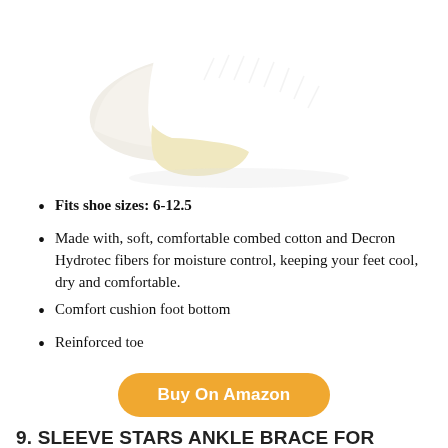[Figure (photo): Two white ankle socks with cream/yellow colored toes, shown on a white background.]
Fits shoe sizes: 6-12.5
Made with, soft, comfortable combed cotton and Decron Hydrotec fibers for moisture control, keeping your feet cool, dry and comfortable.
Comfort cushion foot bottom
Reinforced toe
Buy On Amazon
9. SLEEVE STARS ANKLE BRACE FOR